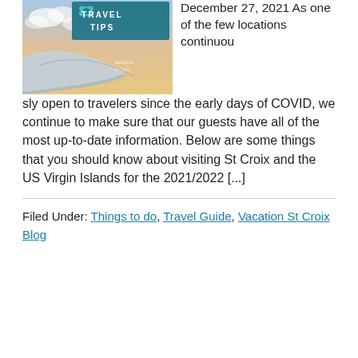[Figure (photo): Airplane wing with clouds and blue sky background, overlaid with a teal banner reading TRAVEL TIPS and a Vacation St Croix logo watermark]
December 27, 2021 As one of the few locations continuously open to travelers since the early days of COVID, we continue to make sure that our guests have all of the most up-to-date information. Below are some things that you should know about visiting St Croix and the US Virgin Islands for the 2021/2022 [...]
Filed Under: Things to do, Travel Guide, Vacation St Croix Blog